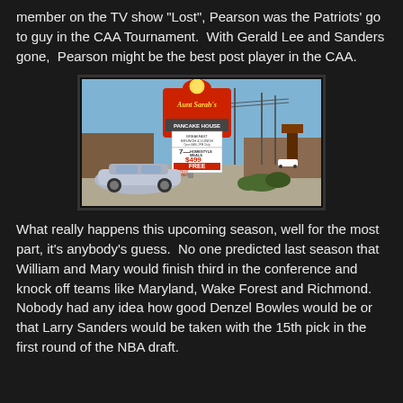member on the TV show "Lost", Pearson was the Patriots' go to guy in the CAA Tournament.  With Gerald Lee and Sanders gone,  Pearson might be the best post player in the CAA.
[Figure (photo): Outdoor photograph of an Aunt Sarah's Pancake House restaurant sign with a silver car in the foreground and commercial buildings in the background under a blue sky.]
What really happens this upcoming season, well for the most part, it's anybody's guess.  No one predicted last season that William and Mary would finish third in the conference and knock off teams like Maryland, Wake Forest and Richmond.  Nobody had any idea how good Denzel Bowles would be or that Larry Sanders would be taken with the 15th pick in the first round of the NBA draft.